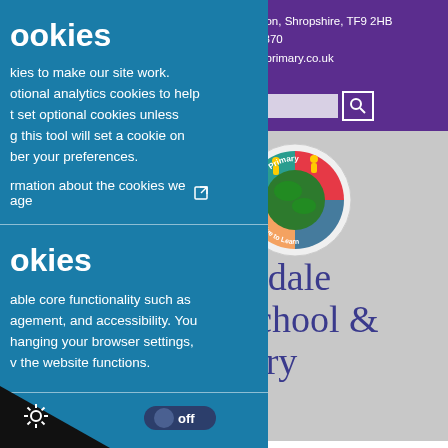ookies
kies to make our site work. otional analytics cookies to help t set optional cookies unless g this tool will set a cookie on ber your preferences.
rmation about the cookies we age [external link icon]
okies
able core functionality such as agement, and accessibility. You hanging your browser settings, v the website functions.
[Figure (screenshot): School website header showing address: Drayton, Shropshire, TF9 2HB, phone 0638370, email sdaleprimary.co.uk, with purple background, search bar below, and school logo (circular with colorful globe design, text 'sdale Primary', 'Love, Live to Learn'), and school name text 'gsdale School & sery' visible]
[Figure (logo): School circular logo with colorful globe and children figures, motto text around edge]